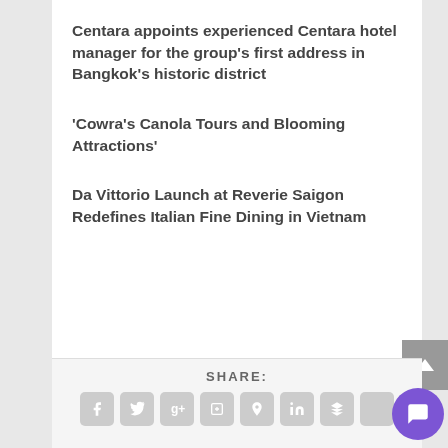Centara appoints experienced Centara hotel manager for the group’s first address in Bangkok’s historic district
‘Cowra’s Canola Tours and Blooming Attractions’
Da Vittorio Launch at Reverie Saigon Redefines Italian Fine Dining in Vietnam
SHARE: